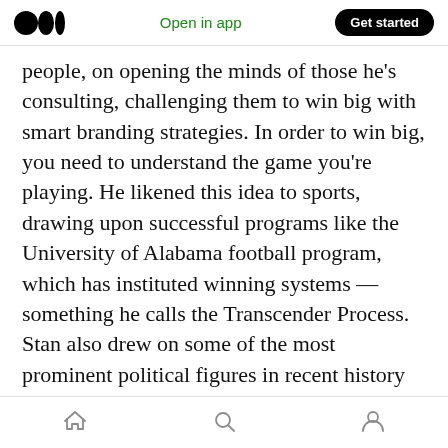Open in app | Get started
people, on opening the minds of those he's consulting, challenging them to win big with smart branding strategies. In order to win big, you need to understand the game you're playing. He likened this idea to sports, drawing upon successful programs like the University of Alabama football program, which has instituted winning systems — something he calls the Transcender Process. Stan also drew on some of the most prominent political figures in recent history to prove the fact that they didn't start with the brand, but their game plan or campaign
Home | Search | Profile